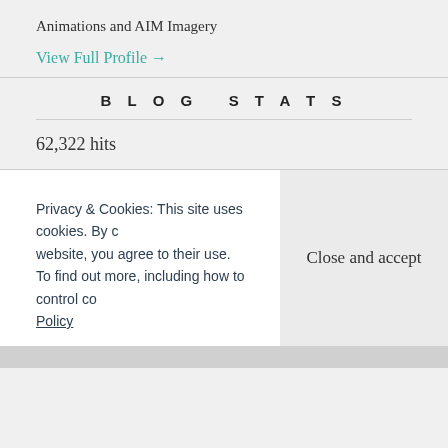Animations and AIM Imagery
View Full Profile →
BLOG STATS
62,322 hits
Privacy & Cookies: This site uses cookies. By continuing to use this website, you agree to their use. To find out more, including how to control cookies, see here: Cookie Policy
Close and accept